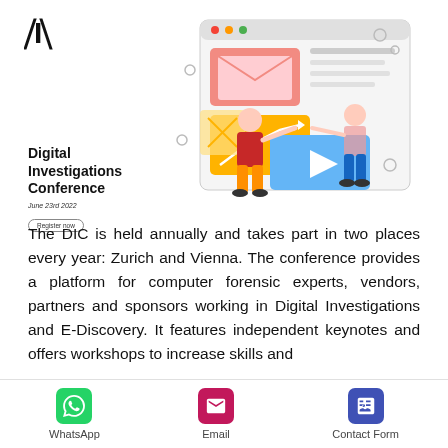[Figure (illustration): DIC logo (stylized bracket letters) top left, and a digital/tech conference illustration showing two people interacting with a large screen/dashboard with charts and envelope icons]
Digital Investigations Conference
June 23rd 2022
Register now
The DIC is held annually and takes part in two places every year: Zurich and Vienna. The conference provides a platform for computer forensic experts, vendors, partners and sponsors working in Digital Investigations and E-Discovery. It features independent keynotes and offers workshops to increase skills and
WhatsApp   Email   Contact Form